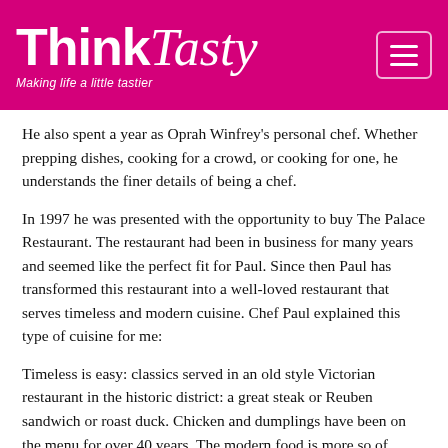Think Tasty — Making life a little tastier
He also spent a year as Oprah Winfrey's personal chef.  Whether prepping dishes, cooking for a crowd, or cooking for one, he understands the finer details of being a chef.
In 1997 he was presented with the opportunity to buy The Palace Restaurant.  The restaurant had been in business for many years and seemed like the perfect fit for Paul.  Since then Paul has transformed this restaurant into a well-loved restaurant that serves timeless and modern cuisine.  Chef Paul explained this type of cuisine for me:
Timeless is easy:  classics served in an old style Victorian restaurant in the historic district: a great steak or Reuben sandwich or roast duck. Chicken and dumplings have been on the menu for over 40 years. The modern food is more so of trends that are existing.  The Palace has the ability to be flexible; you could put a classic and it would fit and you could put a seared ahi and it would